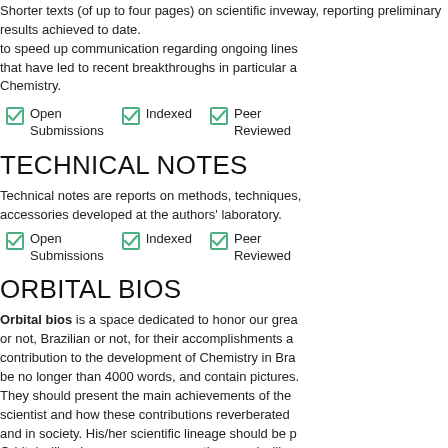Shorter texts (of up to four pages) on scientific investigations under way, reporting preliminary results achieved to date. The goal is to speed up communication regarding ongoing lines of research that have led to recent breakthroughs in particular areas of Chemistry.
☑ Open Submissions  ☑ Indexed  ☑ Peer Reviewed
TECHNICAL NOTES
Technical notes are reports on methods, techniques, and accessories developed at the authors' laboratory.
☑ Open Submissions  ☑ Indexed  ☑ Peer Reviewed
ORBITAL BIOS
Orbital bios is a space dedicated to honor our greatest scientists, Brazilian or not, for their accomplishments and contribution to the development of Chemistry in Brazil. Bios should be no longer than 4000 words, and contain pictures. They should present the main achievements of the scientist and how these contributions reverberated in science and in society. His/her scientific lineage should be presented. Orbital will welcome names suggestions, and will contact the people of the nominees to write these biographies.
Editors
    Grégoire Demets
☑ Open Submissions  ☑ Indexed  ☑ Peer Reviewed